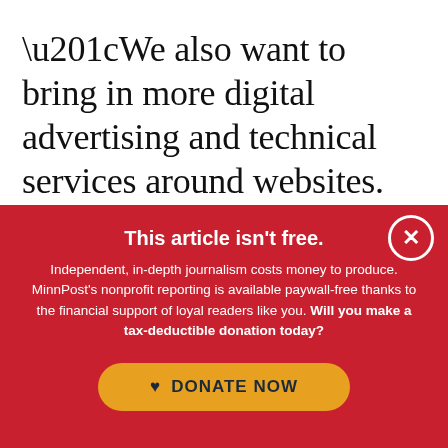“We also want to bring in more digital advertising and technical services around websites. Things like that I think can offer more value to a business. If you’re going to advertise in the print paper, we can also do digital advertising, get your website hosted for you
This article isn't free.
Independent, in-depth journalism costs money to produce. MinnPost’s nonprofit reporting is available paywall-free thanks to the financial support of loyal readers like you. Will you make a tax-deductible donation today?
DONATE NOW